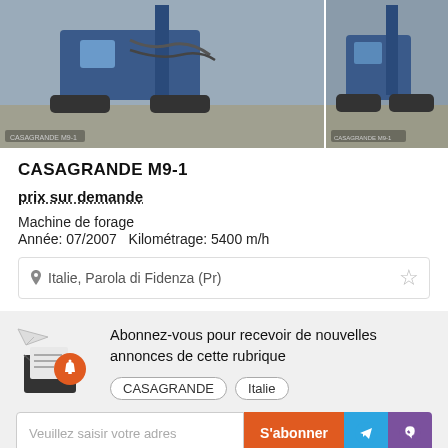[Figure (photo): Two photos of a Casagrande M9-1 drilling machine (crawler-mounted) in a construction yard. Left photo shows the full machine with blue body and hoses; right photo shows a similar view slightly cropped.]
CASAGRANDE M9-1
prix sur demande
Machine de forage
Année: 07/2007   Kilométrage: 5400 m/h
Italie, Parola di Fidenza (Pr)
Abonnez-vous pour recevoir de nouvelles annonces de cette rubrique
CASAGRANDE
Italie
Veuillez saisir votre adres
S'abonner